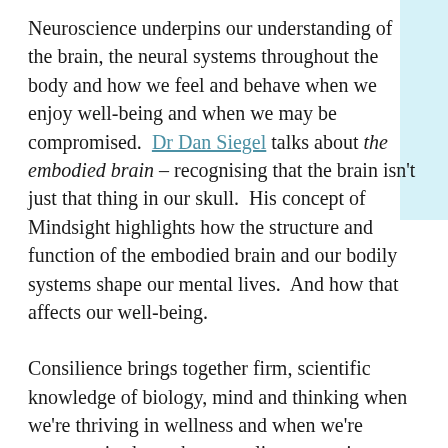Neuroscience underpins our understanding of the brain, the neural systems throughout the body and how we feel and behave when we enjoy well-being and when we may be compromised. Dr Dan Siegel talks about the embodied brain – recognising that the brain isn't just that thing in our skull. His concept of Mindsight highlights how the structure and function of the embodied brain and our bodily systems shape our mental lives. And how that affects our well-being.
Consilience brings together firm, scientific knowledge of biology, mind and thinking when we're thriving in wellness and when we're compromised, maybe struggling to survive.